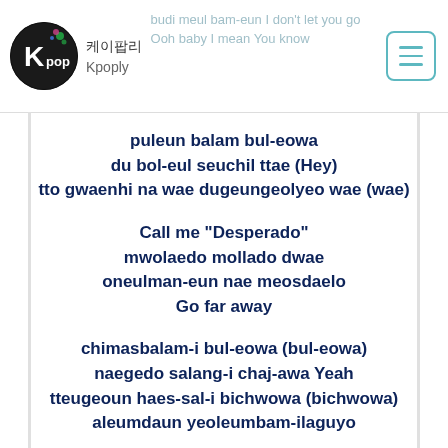budi meul bam-eun I don't let you go / Ooh baby I mean You know
케이팝리 / Kpoply
puleun balam bul-eowa
du bol-eul seuchil ttae (Hey)
tto gwaenhi na wae dugeungeolyeo wae (wae)

Call me "Desperado"
mwolaedo mollado dwae
oneulman-eun nae meosdaelo
Go far away

chimasbalam-i bul-eowa (bul-eowa)
naegedo salang-i chaj-awa Yeah
tteugeoun haes-sal-i bichwowa (bichwowa)
aleumdaun yeoleumbam-ilaguyo

sallang sallang sallang bul-eo gibun joh-eun nal-e
balam balam balam i siwonhan balam